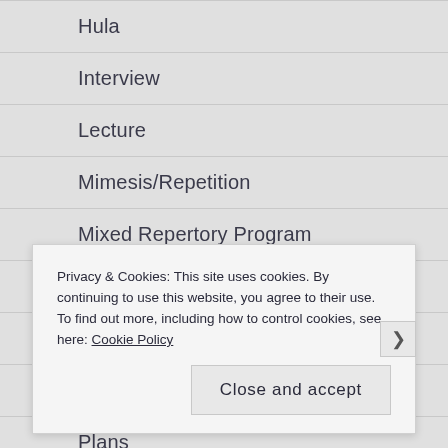Hula
Interview
Lecture
Mimesis/Repetition
Mixed Repertory Program
Music
Pandemic Writing
Performative Lecture
Plans
Privacy & Cookies: This site uses cookies. By continuing to use this website, you agree to their use.
To find out more, including how to control cookies, see here: Cookie Policy
Close and accept